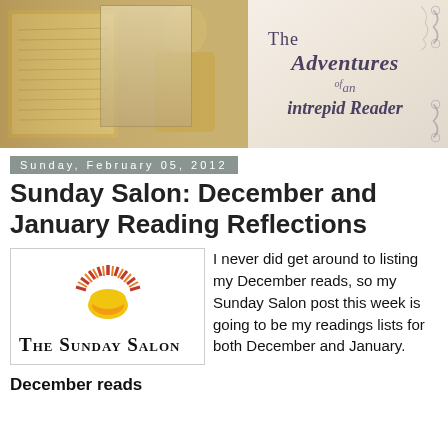[Figure (illustration): Blog header banner: vintage sepia photograph of a man with an open handwritten journal on the left, and decorative script text 'The Adventures of an intrepid Reader' on a cream background on the right with ornamental flourishes.]
Sunday, February 05, 2012
Sunday Salon: December and January Reading Reflections
[Figure (logo): The Sunday Salon logo: a stylized sun with red and yellow rays above the text 'THE SUNDAY SALON' in serif small-caps font, inside a bordered box.]
I never did get around to listing my December reads, so my Sunday Salon post this week is going to be my readings lists for both December and January.
December reads